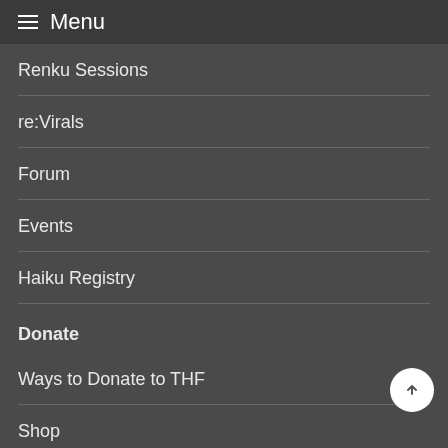≡ Menu
Renku Sessions
re:Virals
Forum
Events
Haiku Registry
Donate
Ways to Donate to THF
Shop